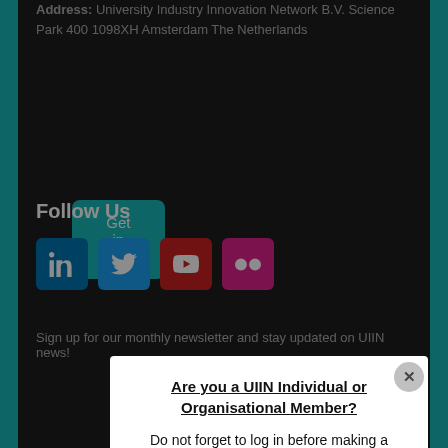Address: University Industry Innovation Network B.V. Science Park 400 1098XH Amsterdam The Netherlands
Get in touch
Follow Us
[Figure (other): Social media icons: LinkedIn (blue), Twitter (light blue), YouTube (red), Flickr (pink/magenta)]
Sign up for our monthly newsletter and stay updated on UIIN news!
Are you a UIIN Individual or Organisational Member? Do not forget to log in before making a purchase to enjoy your membership discounts! Login →